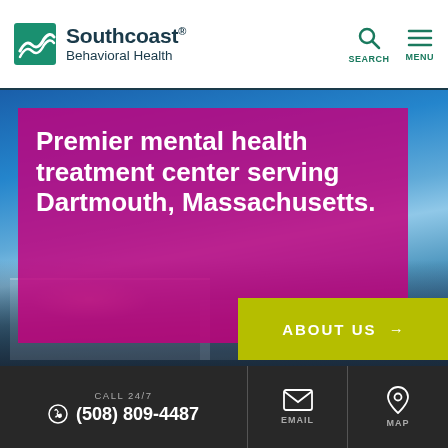[Figure (logo): Southcoast Behavioral Health logo with teal wave/leaf icon and text]
[Figure (photo): Exterior photo of Southcoast Behavioral Health building at dusk with blue sky]
Premier mental health treatment center serving Dartmouth, Massachusetts.
ABOUT US →
CALL 24/7
(508) 809-4487
EMAIL
MAP